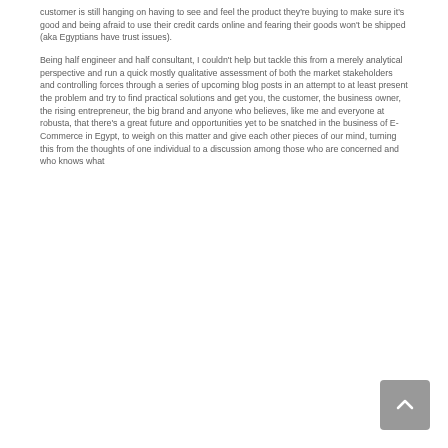customer is still hanging on having to see and feel the product they're buying to make sure it's good and being afraid to use their credit cards online and fearing their goods won't be shipped (aka Egyptians have trust issues).
Being half engineer and half consultant, I couldn't help but tackle this from a merely analytical perspective and run a quick mostly qualitative assessment of both the market stakeholders and controlling forces through a series of upcoming blog posts in an attempt to at least present the problem and try to find practical solutions and get you, the customer, the business owner, the rising entrepreneur, the big brand and anyone who believes, like me and everyone at robusta, that there's a great future and opportunities yet to be snatched in the business of E-Commerce in Egypt, to weigh on this matter and give each other pieces of our mind, turning this from the thoughts of one individual to a discussion among those who are concerned and who knows what